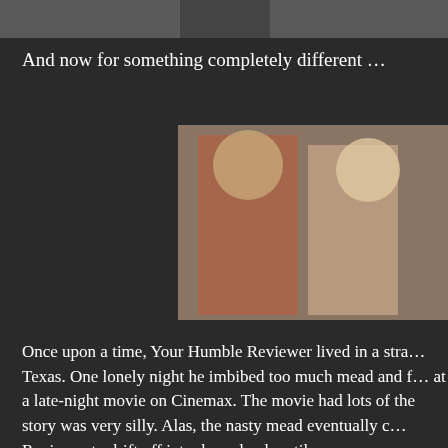[Figure (photo): Cropped image strip at top of page showing partial figures]
And now for something completely different …
[Figure (photo): Movie still showing two women, one with curly red hair in a red outfit leaning toward a blonde woman]
Once upon a time, Your Humble Reviewer lived in a stra… Texas. One lonely night he imbibed too much mead and f… at a late-night movie on Cinemax. The movie had lots of … the story was very silly. Alas, the nasty mead eventually … Reviewer to drift off into dreamland, until …